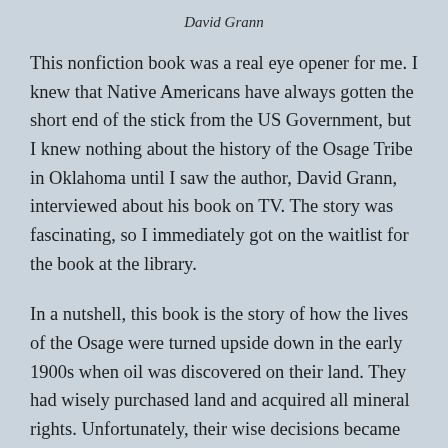David Grann
This nonfiction book was a real eye opener for me. I knew that Native Americans have always gotten the short end of the stick from the US Government, but I knew nothing about the history of the Osage Tribe in Oklahoma until I saw the author, David Grann, interviewed about his book on TV. The story was fascinating, so I immediately got on the waitlist for the book at the library.
In a nutshell, this book is the story of how the lives of the Osage were turned upside down in the early 1900s when oil was discovered on their land. They had wisely purchased land and acquired all mineral rights. Unfortunately, their wise decisions became their undoing when they became wealthy. The government deemed them incapable of handling their own